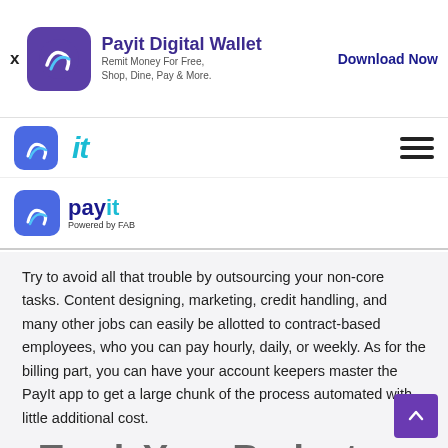Payit Digital Wallet — Remit Money For Free, Shop, Dine, Pay & More. | Download Now
[Figure (logo): Payit Digital Wallet app icon with purple background and 'payit Powered by FAB' wordmark]
Try to avoid all that trouble by outsourcing your non-core tasks. Content designing, marketing, credit handling, and many other jobs can easily be allotted to contract-based employees, who you can pay hourly, daily, or weekly. As for the billing part, you can have your account keepers master the PayIt app to get a large chunk of the process automated with little additional cost.
7. Track Your Budget
Budgeting is an uphill battle when you're starting out